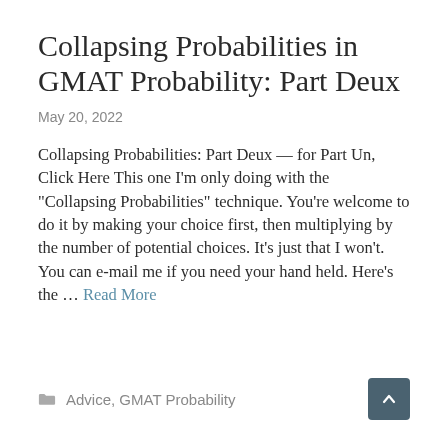Collapsing Probabilities in GMAT Probability: Part Deux
May 20, 2022
Collapsing Probabilities: Part Deux — for Part Un, Click Here This one I'm only doing with the "Collapsing Probabilities" technique. You're welcome to do it by making your choice first, then multiplying by the number of potential choices. It's just that I won't. You can e-mail me if you need your hand held. Here's the … Read More
Advice, GMAT Probability